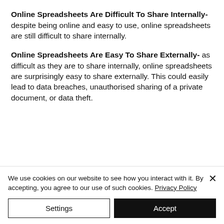Online Spreadsheets Are Difficult To Share Internally- despite being online and easy to use, online spreadsheets are still difficult to share internally.
Online Spreadsheets Are Easy To Share Externally- as difficult as they are to share internally, online spreadsheets are surprisingly easy to share externally. This could easily lead to data breaches, unauthorised sharing of a private document, or data theft.
We use cookies on our website to see how you interact with it. By accepting, you agree to our use of such cookies. Privacy Policy
Settings
Accept